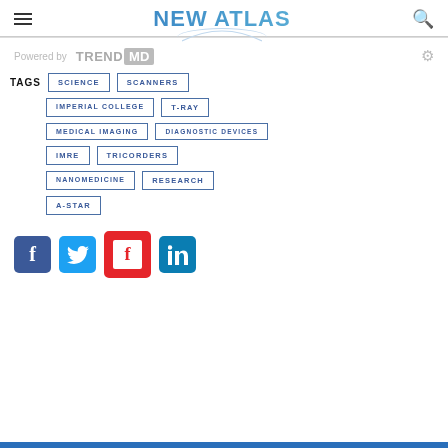NEW ATLAS
Powered by TREND MD
TAGS: SCIENCE, SCANNERS, IMPERIAL COLLEGE, T-RAY, MEDICAL IMAGING, DIAGNOSTIC DEVICES, IMRE, TRICORDERS, NANOMEDICINE, RESEARCH, A-STAR
[Figure (other): Social share buttons: Facebook, Twitter, Flipboard, LinkedIn]